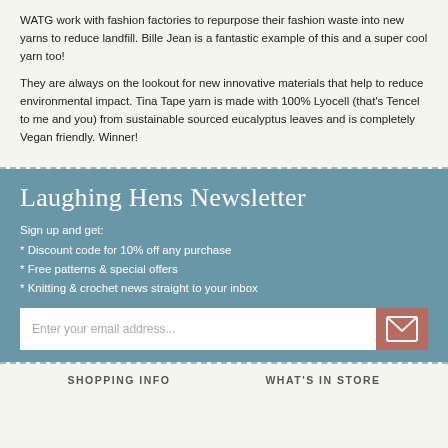WATG work with fashion factories to repurpose their fashion waste into new yarns to reduce landfill. Bille Jean is a fantastic example of this and a super cool yarn too!
They are always on the lookout for new innovative materials that help to reduce environmental impact. Tina Tape yarn is made with 100% Lyocell (that's Tencel to me and you) from sustainable sourced eucalyptus leaves and is completely Vegan friendly. Winner!
Laughing Hens Newsletter
Sign up and get:
* Discount code for 10% off any purchase
* Free patterns & special offers
* Knitting & crochet news straight to your inbox
SHOPPING INFO   WHAT'S IN STORE